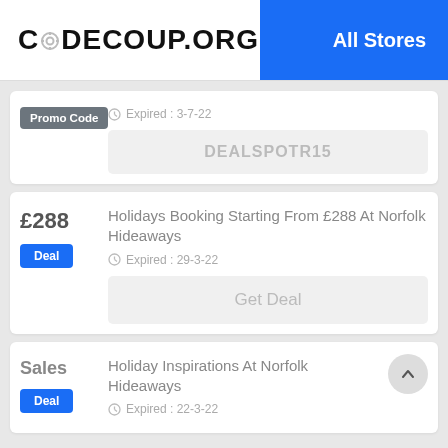CODECOUP.ORG   All Stores
Promo Code
Expired : 3-7-22
DEALSPOTR15
£288
Holidays Booking Starting From £288 At Norfolk Hideaways
Expired : 29-3-22
Deal
Get Deal
Sales
Holiday Inspirations At Norfolk Hideaways
Expired : 22-3-22
Deal